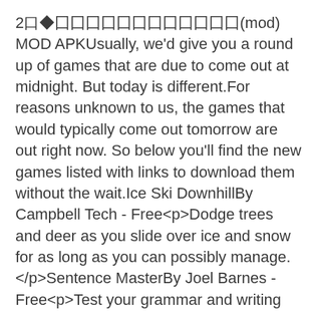2口◆囗囗囗囗囗囗囗囗囗囗囗囗(mod) MOD APKUsually, we'd give you a round up of games that are due to come out at midnight. But today is different.For reasons unknown to us, the games that would typically come out tomorrow are out right now. So below you'll find the new games listed with links to download them without the wait.Ice Ski DownhillBy Campbell Tech - Free<p>Dodge trees and deer as you slide over ice and snow for as long as you can possibly manage.</p>Sentence MasterBy Joel Barnes - Free<p>Test your grammar and writing skills in this educational game. Works for people just starting out learning English or those looking to master it.</p>Hunger BeatBy Antonio Asasi - 79p / 99c<p>You're given an atlas that shows the people who are hungry.